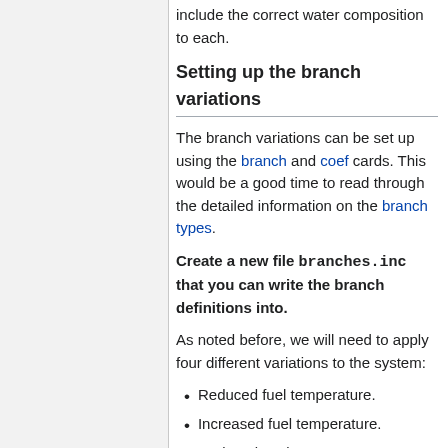include the correct water composition to each.
Setting up the branch variations
The branch variations can be set up using the branch and coef cards. This would be a good time to read through the detailed information on the branch types.
Create a new file branches.inc that you can write the branch definitions into.
As noted before, we will need to apply four different variations to the system:
Reduced fuel temperature.
Increased fuel temperature.
Reduced coolant temperature.
Increased coolant temperature.
We will create a separate branch